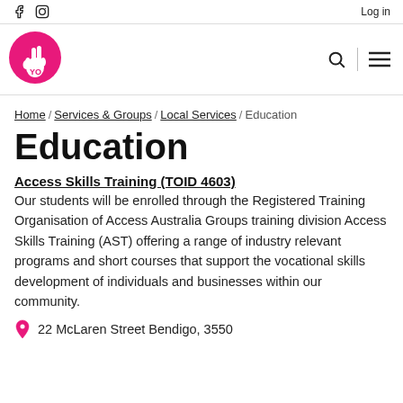f  [instagram icon]  Log in
[Figure (logo): YO peace sign hand logo in pink circle]
Home / Services & Groups / Local Services / Education
Education
Access Skills Training (TOID 4603)
Our students will be enrolled through the Registered Training Organisation of Access Australia Groups training division Access Skills Training (AST) offering a range of industry relevant programs and short courses that support the vocational skills development of individuals and businesses within our community.
22 McLaren Street Bendigo, 3550